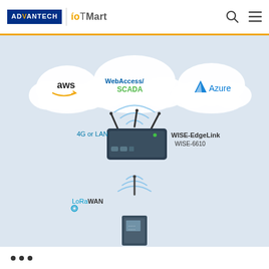[Figure (logo): Advantech IoTMart logo in header]
[Figure (infographic): Network diagram showing WISE-6610 WISE-EdgeLink device connecting to AWS cloud, Azure cloud, and WebAccess/SCADA via 4G or LAN, with LoRaWAN connectivity below to a sub-device. Labels: aws, Azure, WebAccess/SCADA, 4G or LAN, WISE-EdgeLink, WISE-6610, LoRaWAN]